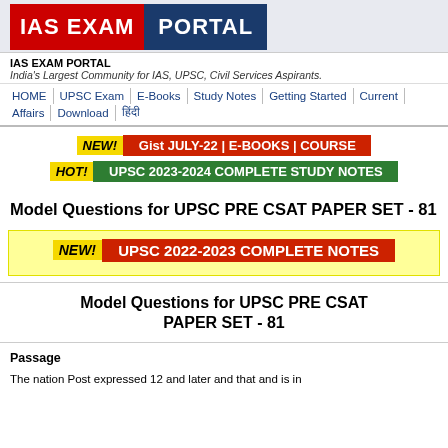[Figure (logo): IAS EXAM PORTAL logo with red IAS, dark gray EXAM, and navy PORTAL sections]
IAS EXAM PORTAL
India's Largest Community for IAS, UPSC, Civil Services Aspirants.
HOME | UPSC Exam | E-Books | Study Notes | Getting Started | Current Affairs | Download | हिंदी
NEW! Gist JULY-22 | E-BOOKS | COURSE
HOT! UPSC 2023-2024 COMPLETE STUDY NOTES
Model Questions for UPSC PRE CSAT PAPER SET - 81
NEW! UPSC 2022-2023 COMPLETE NOTES
Model Questions for UPSC PRE CSAT PAPER SET - 81
Passage
The nation Post expressed 12 and later and that and is in